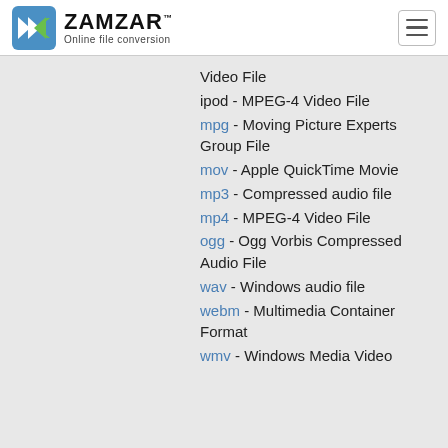[Figure (logo): Zamzar logo with blue/green arrow icon and text 'ZAMZAR Online file conversion']
Video File
ipod - MPEG-4 Video File
mpg - Moving Picture Experts Group File
mov - Apple QuickTime Movie
mp3 - Compressed audio file
mp4 - MPEG-4 Video File
ogg - Ogg Vorbis Compressed Audio File
wav - Windows audio file
webm - Multimedia Container Format
wmv - Windows Media Video